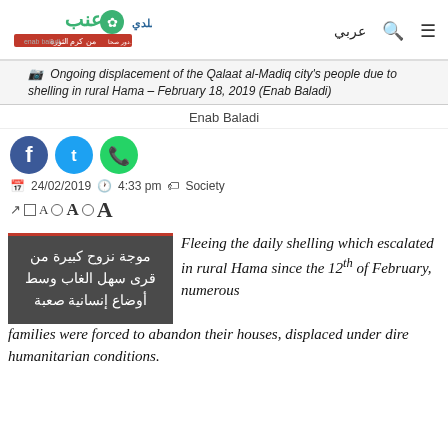[Figure (logo): Enab Baladi website logo with Arabic text and navigation icons (Arabic text, search icon, menu icon)]
Ongoing displacement of the Qalaat al-Madiq city's people due to shelling in rural Hama – February 18, 2019 (Enab Baladi)
Enab Baladi
[Figure (illustration): Social media share icons: Facebook (blue circle), Twitter (blue circle), WhatsApp (green circle)]
24/02/2019   4:33 pm   Society
A ○A ○A (font size selector)
موجة نزوح كبيرة من قرى سهل الغاب وسط أوضاع إنسانية صعبة
Fleeing the daily shelling which escalated in rural Hama since the 12th of February, numerous families were forced to abandon their houses, displaced under dire humanitarian conditions.